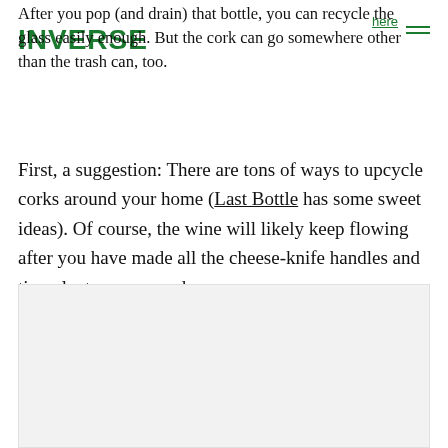INVERSE
After you pop (and drain) that bottle, you can recycle the glass easily enough. But the cork can go somewhere other than the trash can, too.
First, a suggestion: There are tons of ways to upcycle corks around your home (Last Bottle has some sweet ideas). Of course, the wine will likely keep flowing after you have made all the cheese-knife handles and tiny planters you need.
[Figure (other): Light grey placeholder image area at the bottom of the page]